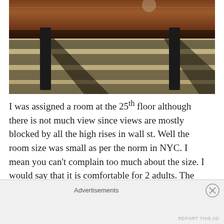[Figure (photo): Interior photo showing a dark wood table surface and table legs casting shadows on a striped beige/gray rug below]
I was assigned a room at the 25th floor although there is not much view since views are mostly blocked by all the high rises in wall st. Well the room size was small as per the norm in NYC. I mean you can't complain too much about the size. I would say that it is comfortable for 2 adults. The room is squarish in look and immediately after entering you can find the lush King Size bed on
Advertisements
REPORT THIS AD